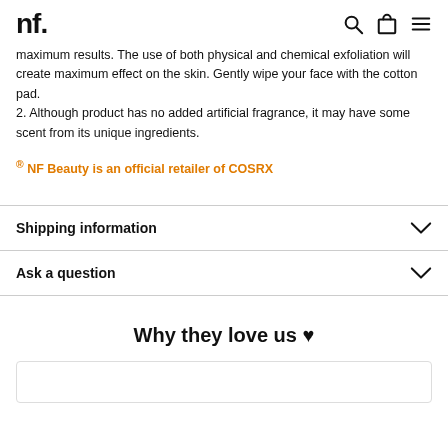NF.
maximum results. The use of both physical and chemical exfoliation will create maximum effect on the skin. Gently wipe your face with the cotton pad.
2. Although product has no added artificial fragrance, it may have some scent from its unique ingredients.
® NF Beauty is an official retailer of COSRX
Shipping information
Ask a question
Why they love us ♥